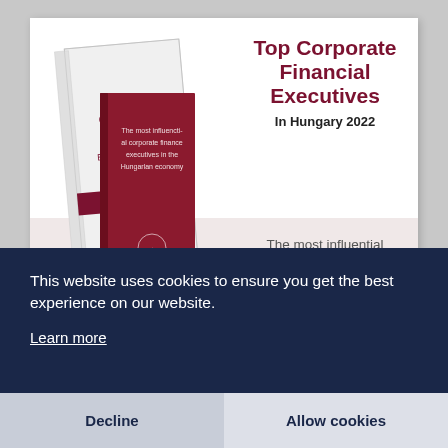[Figure (illustration): Book cover showing 'Top Corporate Financial Executives in Hungary 2022' publication]
Top Corporate Financial Executives In Hungary 2022
The most influential corporate finance executives in the Hungarian economy
This website uses cookies to ensure you get the best experience on our website.
Learn more
Decline
Allow cookies